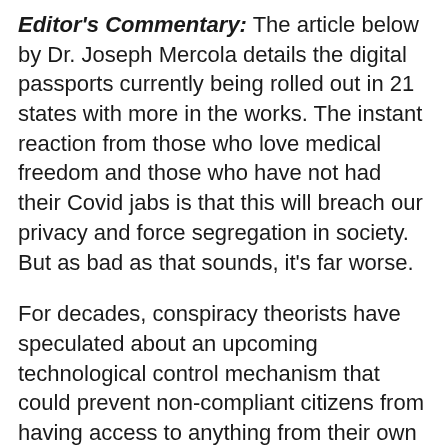Editor's Commentary: The article below by Dr. Joseph Mercola details the digital passports currently being rolled out in 21 states with more in the works. The instant reaction from those who love medical freedom and those who have not had their Covid jabs is that this will breach our privacy and force segregation in society. But as bad as that sounds, it's far worse.
For decades, conspiracy theorists have speculated about an upcoming technological control mechanism that could prevent non-compliant citizens from having access to anything from their own money to professional healthcare. As the internet developed and smartphones became ubiquitous, the picture of how this draconian tool would come to pass